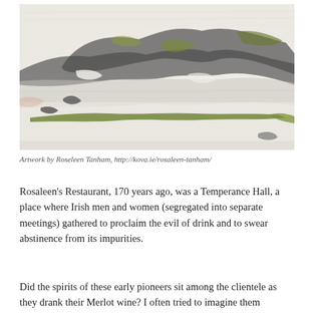[Figure (illustration): Abstract landscape painting with grey, green, and white tones, featuring dark swirling forms suggesting hills or mountains above a pale ground with a green horizontal brushstroke near the base.]
Artwork by Roseleen Tanham, http://kova.ie/rosaleen-tanham/
Rosaleen's Restaurant, 170 years ago, was a Temperance Hall, a place where Irish men and women (segregated into separate meetings) gathered to proclaim the evil of drink and to swear abstinence from its impurities.
Did the spirits of these early pioneers sit among the clientele as they drank their Merlot wine? I often tried to imagine them